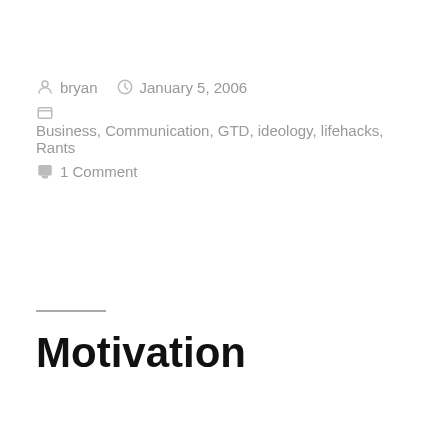bryan   January 5, 2006
Business, Communication, GTD, ideology, lifehacks, Rants
1 Comment
Motivation